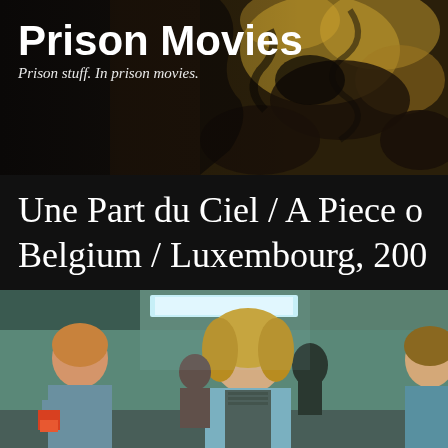[Figure (screenshot): Website header banner for 'Prison Movies' blog with dark textured stone/wall background]
Prison Movies
Prison stuff. In prison movies.
Une Part du Ciel / A Piece o... Belgium / Luxembourg, 200...
[Figure (photo): Film still showing women in blue jackets walking in what appears to be a prison corridor, with fluorescent lighting above]